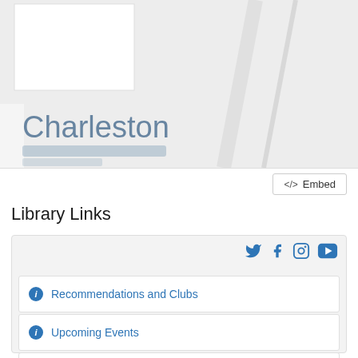[Figure (map): Partial map screenshot showing 'Charleston' text in blue-gray, with white overlay boxes and diagonal road lines on a light gray background]
</>  Embed
Library Links
[Figure (other): Social media icons: Twitter, Facebook, Instagram, YouTube in blue]
Recommendations and Clubs
Upcoming Events
Connect Charleston County Public lib...